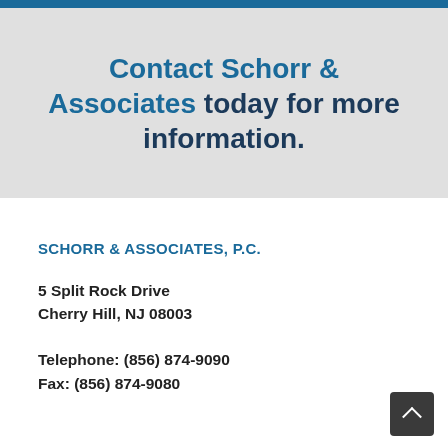Contact Schorr & Associates today for more information.
SCHORR & ASSOCIATES, P.C.
5 Split Rock Drive
Cherry Hill, NJ 08003
Telephone: (856) 874-9090
Fax: (856) 874-9080